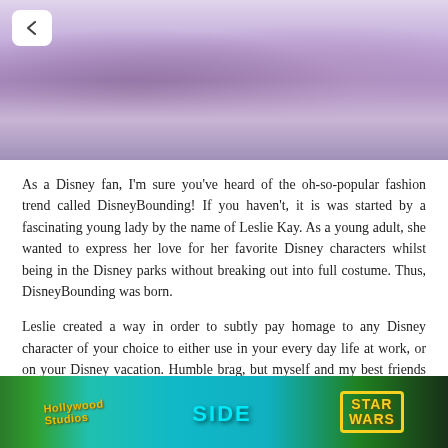[Figure (photo): Top portion of a photo showing purple background with sandaled feet visible, partially cropped]
As a Disney fan, I'm sure you've heard of the oh-so-popular fashion trend called DisneyBounding! If you haven't, it is was started by a fascinating young lady by the name of Leslie Kay. As a young adult, she wanted to express her love for her favorite Disney characters whilst being in the Disney parks without breaking out into full costume. Thus, DisneyBounding was born.
Leslie created a way in order to subtly pay homage to any Disney character of your choice to either use in your every day life at work, or on your Disney vacation. Humble brag, but myself and my best friends have become experts at DisneyBounding so I believe I have the experience to be able to teach you, young Padawans.
[Figure (photo): Bottom portion showing a Star Wars themed area at Disney, with teal/blue background, Hollywood Studios sign, 'SIDE' text in teal, and Star Wars yellow logo text]